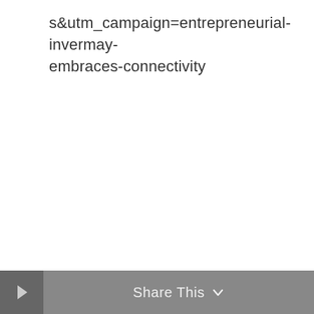s&utm_campaign=entrepreneurial-invermay-embraces-connectivity
Share This ∨